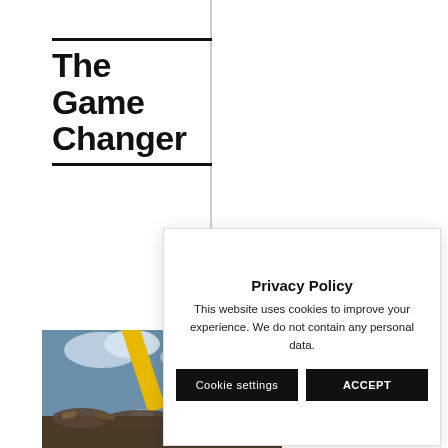The Game Changer
[Figure (photo): Industrial crane with yellow arm and claw grab, holding scrap metal debris against a cloudy sky background]
Privacy Policy
This website uses cookies to improve your experience. We do not contain any personal data.
Cookie settings
ACCEPT